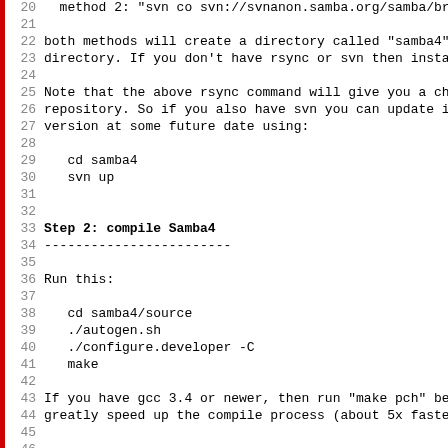Line 20: method 2: "svn co svn://svnanon.samba.org/samba/bra..."
Line 22-23: both methods will create a directory called "samba4" in... directory. If you don't have rsync or svn then install...
Line 25-27: Note that the above rsync command will give you a check... repository. So if you also have svn you can update it ... version at some future date using:
Line 29:   cd samba4
Line 30:   svn up
Line 33: Step 2: compile Samba4
Line 34: ------------------------
Line 36: Run this:
Line 38:   cd samba4/source
Line 39:   ./autogen.sh
Line 40:   ./configure.developer -C
Line 41:   make
Line 43-44: If you have gcc 3.4 or newer, then run "make pch" befo... greatly speed up the compile process (about 5x faster)...
Line 47: Step 3: install Samba4
Line 48: ------------------------
Line 50-51: Run this as a user who have permission to write to the... directory (defaults to /usr/local/samba). Use --prefix...